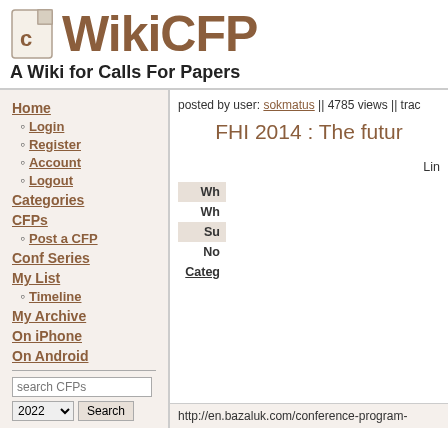WikiCFP — A Wiki for Calls For Papers
Home
Login
Register
Account
Logout
Categories
CFPs
Post a CFP
Conf Series
My List
Timeline
My Archive
On iPhone
On Android
posted by user: sokmatus || 4785 views || trac
FHI 2014 : The futur
Lin
| Field | Value |
| --- | --- |
| Wh |  |
| Wh |  |
| Su |  |
| No |  |
| Categ |  |
http://en.bazaluk.com/conference-program-